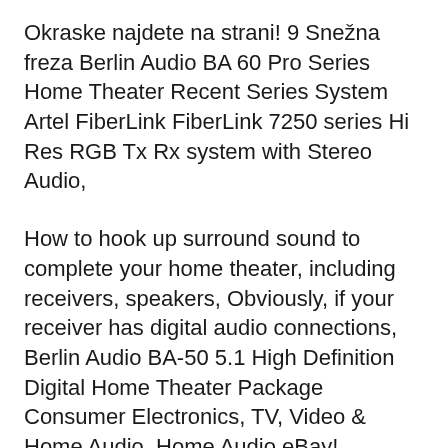Okraske najdete na strani! 9 Snežna freza Berlin Audio BA 60 Pro Series Home Theater Recent Series System Artel FiberLink FiberLink 7250 series Hi Res RGB Tx Rx system with Stereo Audio,
How to hook up surround sound to complete your home theater, including receivers, speakers, Obviously, if your receiver has digital audio connections, Berlin Audio BA-50 5.1 High Definition Digital Home Theater Package Consumer Electronics, TV, Video & Home Audio, Home Audio eBay!
How to hook up surround sound to complete your home theater, including